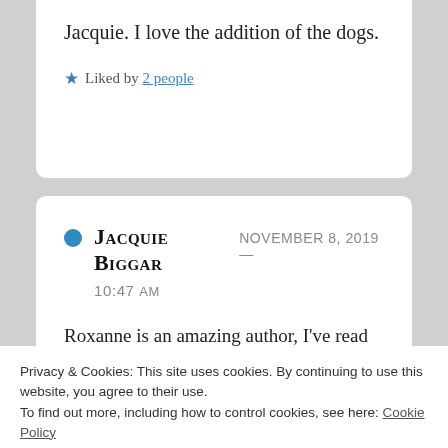Jacquie. I love the addition of the dogs.
★ Liked by 2 people
JACQUIE BIGGAR  NOVEMBER 8, 2019 — 10:47 AM
Roxanne is an amazing author, I've read
Privacy & Cookies: This site uses cookies. By continuing to use this website, you agree to their use.
To find out more, including how to control cookies, see here: Cookie Policy
Close and accept
★ Liked by 3 people